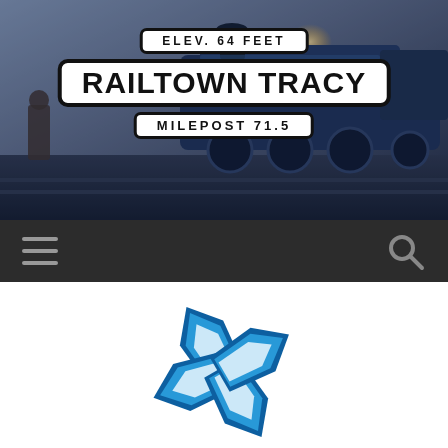[Figure (photo): Header photo of a blue steam locomotive at dusk/night with a person standing to the left, serving as background for the Railtown Tracy website header]
ELEV. 64 FEET
RAILTOWN TRACY
MILEPOST 71.5
[Figure (logo): Navigation bar with hamburger menu icon on the left and search icon on the right, dark background]
[Figure (logo): Blue multi-petaled flower/snowflake logo mark in shades of blue on white background]